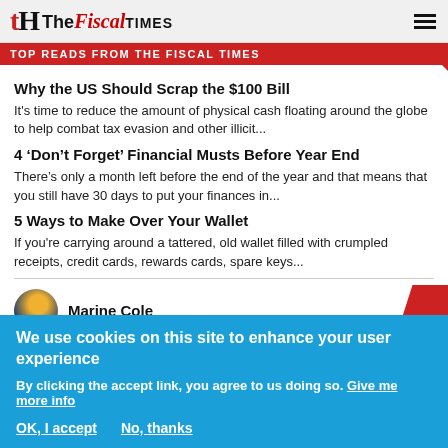The Fiscal Times
TOP READS FROM THE FISCAL TIMES
Why the US Should Scrap the $100 Bill
It's time to reduce the amount of physical cash floating around the globe to help combat tax evasion and other illicit...
4 ‘Don’t Forget’ Financial Musts Before Year End
There’s only a month left before the end of the year and that means that you still have 30 days to put your finances in...
5 Ways to Make Over Your Wallet
If you're carrying around a tattered, old wallet filled with crumpled receipts, credit cards, rewards cards, spare keys...
Marine Cole
We use cookies on this site to enhance your user experience
By clicking the accept link, you agree to us doing so. Give me more info
OK, I accept    No, thanks